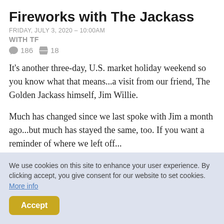Fireworks with The Jackass
FRIDAY, JULY 3, 2020 – 10:00AM
WITH TF
186  18
It's another three-day, U.S. market holiday weekend so you know what that means...a visit from our friend, The Golden Jackass himself, Jim Willie.
Much has changed since we last spoke with Jim a month ago...but much has stayed the same, too. If you want a reminder of where we left off...
We use cookies on this site to enhance your user experience. By clicking accept, you give consent for our website to set cookies. More info
Accept